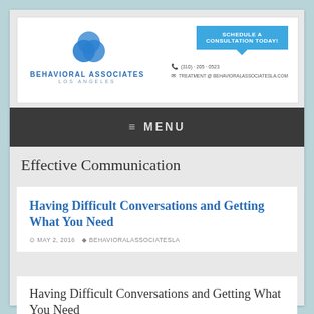[Figure (logo): Behavioral Associates Los Angeles logo with blue overlapping circles and text]
Schedule a Consultation Today!
(310) · 205 · 0523
TREATMENT @ BEHAVIORALASSOCIATESLA.COM
≡  MENU
Effective Communication
Having Difficult Conversations and Getting What You Need
MAY 2, 2016   BEHAVIORALASSOCIATESLA
Having Difficult Conversations and Getting What You Need